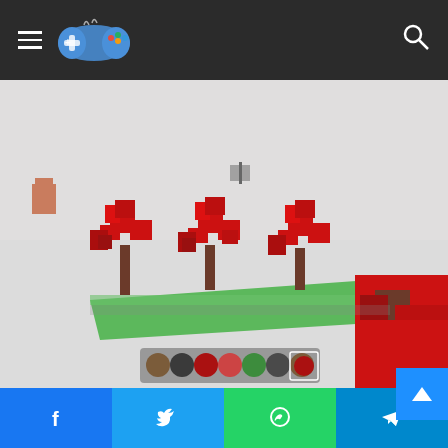Gaming website header with hamburger menu, game controller logo, and search icon
[Figure (screenshot): Minecraft-style game screenshot showing a snowy environment with red tree-like pixel art structures on a green grass platform. A small character is visible at the left. A toolbar with item icons is shown at the bottom. Red chunky foliage/blocks are visible in the foreground right.]
[Figure (screenshot): Second Minecraft-style game screenshot partially visible, showing a snowy environment with a dark pixel object at center bottom, partially cropped.]
Facebook | Twitter | WhatsApp | Telegram share buttons